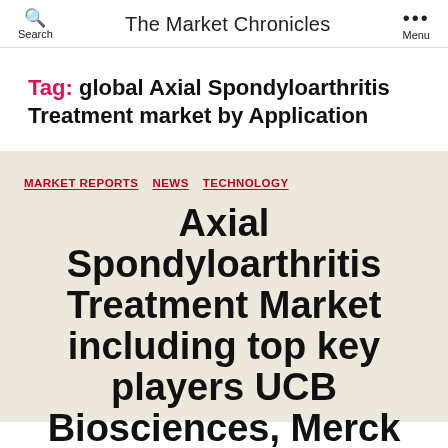The Market Chronicles | Search | Menu
Tag: global Axial Spondyloarthritis Treatment market by Application
MARKET REPORTS  NEWS  TECHNOLOGY
Axial Spondyloarthritis Treatment Market including top key players UCB Biosciences, Merck Sharp & Dohme